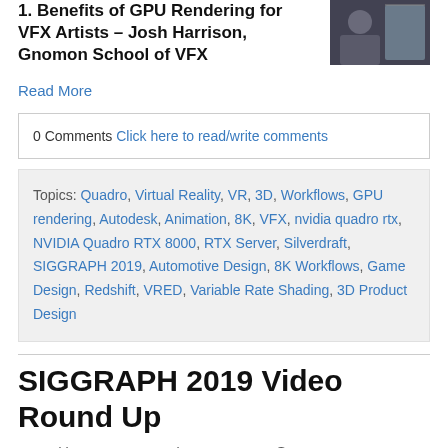1. Benefits of GPU Rendering for VFX Artists – Josh Harrison, Gnomon School of VFX
[Figure (photo): Photo of a person at what appears to be a conference, wearing a badge.]
Read More
0 Comments Click here to read/write comments
Topics: Quadro, Virtual Reality, VR, 3D, Workflows, GPU rendering, Autodesk, Animation, 8K, VFX, nvidia quadro rtx, NVIDIA Quadro RTX 8000, RTX Server, Silverdraft, SIGGRAPH 2019, Automotive Design, 8K Workflows, Game Design, Redshift, VRED, Variable Rate Shading, 3D Product Design
SIGGRAPH 2019 Video Round Up
Posted by PNY Pro on Fri, Aug 23, 2019 @ 12:00 PM